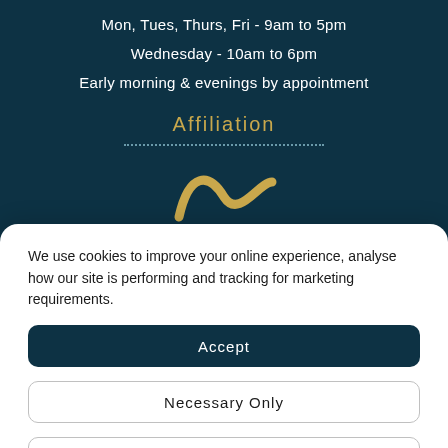Mon, Tues, Thurs, Fri - 9am to 5pm
Wednesday - 10am to 6pm
Early morning & evenings by appointment
Affiliation
[Figure (logo): Gold/yellow curved dental or smile logo mark, partially visible at the bottom of the dark teal section]
We use cookies to improve your online experience, analyse how our site is performing and tracking for marketing requirements.
Accept
Necessary Only
View Preferences
Cookie Policy   Privacy Statement